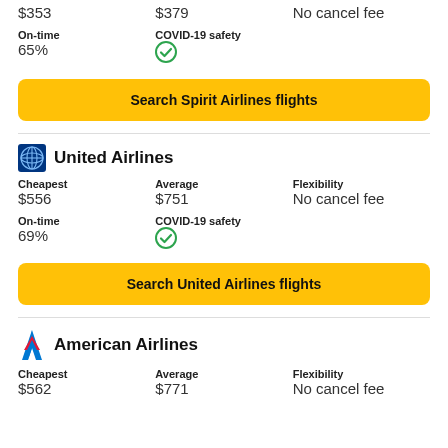$353   $379   No cancel fee
On-time
65%
COVID-19 safety ✓
Search Spirit Airlines flights
United Airlines
Cheapest   Average   Flexibility
$556   $751   No cancel fee
On-time
69%
COVID-19 safety ✓
Search United Airlines flights
American Airlines
Cheapest   Average   Flexibility
$562   $771   No cancel fee